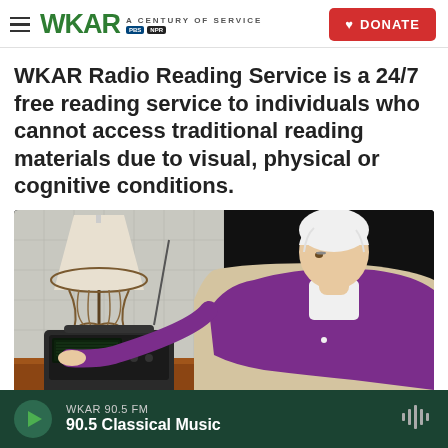WKAR A CENTURY OF SERVICE | DONATE
WKAR Radio Reading Service is a 24/7 free reading service to individuals who cannot access traditional reading materials due to visual, physical or cognitive conditions.
[Figure (photo): An elderly woman with short white hair wearing a purple cardigan reaches toward a portable radio on a wooden surface. A lamp with an ornate metal base is visible in the background.]
WKAR 90.5 FM | 90.5 Classical Music